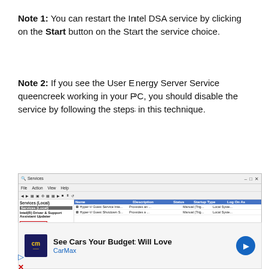Note 1: You can restart the Intel DSA service by clicking on the Start button on the Start the service choice.
Note 2: If you see the User Energy Server Service queencreek working in your PC, you should disable the service by following the steps in this technique.
[Figure (screenshot): Windows Services dialog box showing Services (Local) panel with Intel(R) Driver & Support Assistant Updater selected and a context menu with 'Start the service' option highlighted in red.]
[Figure (infographic): CarMax advertisement banner showing logo, text 'See Cars Your Budget Will Love' and 'CarMax' with a blue arrow icon.]